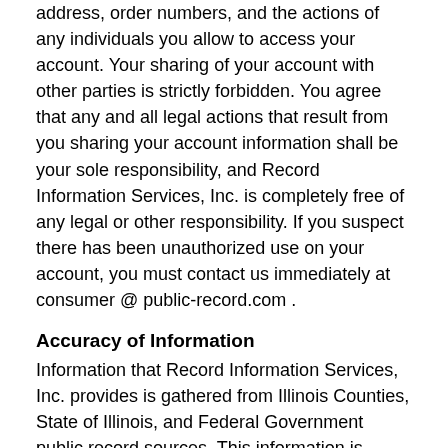address, order numbers, and the actions of any individuals you allow to access your account. Your sharing of your account with other parties is strictly forbidden. You agree that any and all legal actions that result from you sharing your account information shall be your sole responsibility, and Record Information Services, Inc. is completely free of any legal or other responsibility. If you suspect there has been unauthorized use on your account, you must contact us immediately at consumer @ public-record.com .
Accuracy of Information
Information that Record Information Services, Inc. provides is gathered from Illinois Counties, State of Illinois, and Federal Government public record sources. This information is considered reliable, but is only as good as the public record. The accuracy and completeness of the information contained in our data bases or reports will not be guaranteed by Record Information Services, Inc.
Record Information Services, Inc. has taken the lead in the data industry in the metro Chicago area to insure that it is compliant with the new "Do Not Call Registry". Record Information Services updated its records to meet the October 1, 2003 deadline and in compliance with Federal Trade Commission (FTC) regulations. Record Information Services completes updates twice monthly. We strongly recommend that people visit the web site at